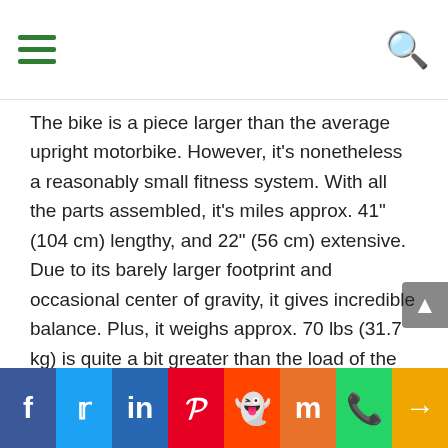Navigation bar with hamburger menu and search icon
The bike is a piece larger than the average upright motorbike. However, it's nonetheless a reasonably small fitness system. With all the parts assembled, it's miles approx. 41" (104 cm) lengthy, and 22" (56 cm) extensive. Due to its barely larger footprint and occasional center of gravity, it gives incredible balance. Plus, it weighs approx. 70 lbs (31.7 kg) is quite a bit greater than the load of the standard street motorcycle; this weight also adds up to the unit's standard stability.
This Schwinn exercise motorcycle does not now have a folding body. It is easy to transport, even though, once it's miles assembled. Its front base
f | Twitter | in | P | Reddit | Mix | WhatsApp | Share